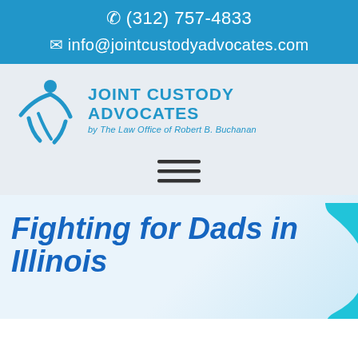☎ (312) 757-4833 ✉ info@jointcustodyadvocates.com
[Figure (logo): Joint Custody Advocates logo: blue figure with arms raised and circular arc, beside text 'JOINT CUSTODY ADVOCATES by The Law Office of Robert B. Buchanan']
[Figure (other): Hamburger menu icon with three horizontal lines]
Fighting for Dads in Illinois